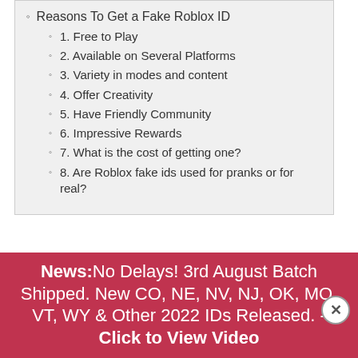Reasons To Get a Fake Roblox ID
1. Free to Play
2. Available on Several Platforms
3. Variety in modes and content
4. Offer Creativity
5. Have Friendly Community
6. Impressive Rewards
7. What is the cost of getting one?
8. Are Roblox fake ids used for pranks or for real?
oblox is a sturdy, industry-recognized platform
News: No Delays! 3rd August Batch Shipped. New CO, NE, NV, NJ, OK, MO, VT, WY & Other 2022 IDs Released. - Click to View Video